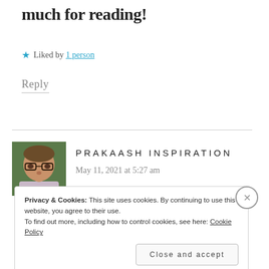much for reading!
★ Liked by 1 person
Reply
[Figure (photo): Profile photo of a man wearing glasses, with hand near chin, against a green background]
PRAKAASH INSPIRATION
May 11, 2021 at 5:27 am
Privacy & Cookies: This site uses cookies. By continuing to use this website, you agree to their use. To find out more, including how to control cookies, see here: Cookie Policy
Close and accept